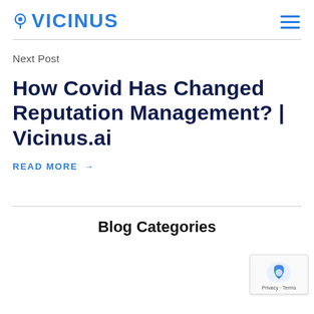VICINUS
Next Post
How Covid Has Changed Reputation Management? | Vicinus.ai
READ MORE →
Blog Categories